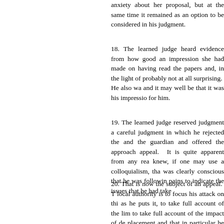anxiety about her proposal, but at the same time it remained as an option to be considered in his judgment.
18. The learned judge heard evidence from how good an impression she had made on having read the papers and, in the light of probably not at all surprising. He also was and it may well be that it was his impression for him.
19. The learned judge reserved judgment and careful judgment in which he rejected the and the guardian and offered the approach appeal. It is quite apparent from any reading knew, if one may use a colloquialism, that was clearly conscious that he was following pains to indicate the issues that he had taken
20. That is now the subject of an appeal. The local authority is to focus his attack on this as he puts it, to take full account of the limitations to take full account of the impact of delay placement and that in particular he failed to of those two things upon the welfare of the judge has exposed this child to a degree justified in the generous ambit of discretion assessment so far as the child is concerned.